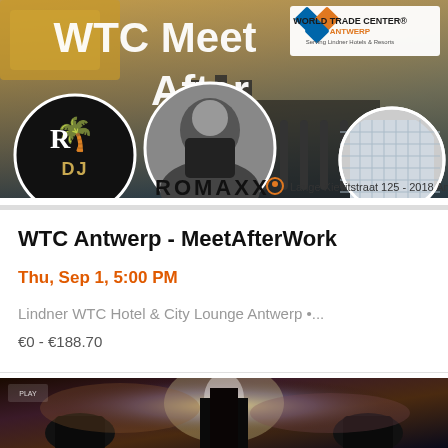[Figure (illustration): WTC Meet After Work event banner. Features 'WTC Meet After Work' text in white over a bar/lounge background image. Includes World Trade Center Antwerp logo top right, DJ ROMAXX circular logo bottom left, a circular photo of a DJ, a circular photo of the WTC building, and address text 'Lange Kievitstraat 125 - 2018 Antwerpen' with a location pin icon.]
WTC Antwerp - MeetAfterWork
Thu, Sep 1, 5:00 PM
Lindner WTC Hotel & City Lounge Antwerp •...
€0 - €188.70
[Figure (photo): Dark sci-fi or action event banner, partially visible at bottom of page. Shows silhouetted figures against dramatic lighting with what appears to be military or game imagery.]